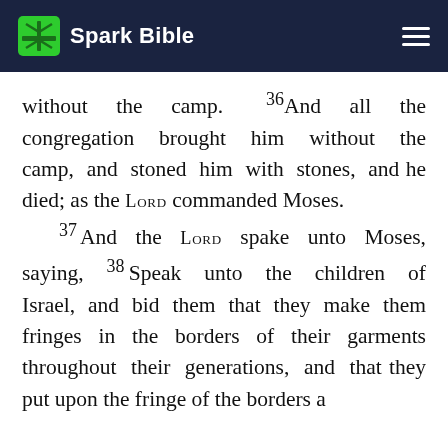Spark Bible
without the camp. 36And all the congregation brought him without the camp, and stoned him with stones, and he died; as the LORD commanded Moses. 37And the LORD spake unto Moses, saying, 38Speak unto the children of Israel, and bid them that they make them fringes in the borders of their garments throughout their generations, and that they put upon the fringe of the borders a